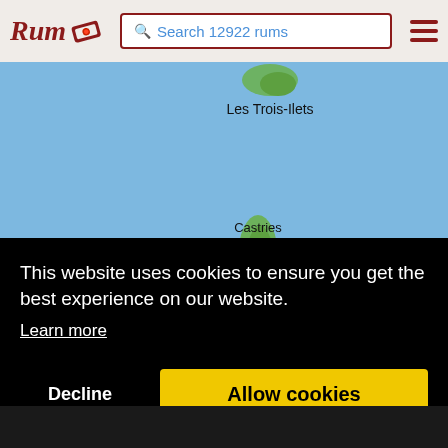Rum — Search 12922 rums
[Figure (map): Map showing the Caribbean Sea area with St Lucia island. Labels visible: Les Trois-Ilets at top, Castries with capital marker, St Lucia in bold, Vieux Fort at bottom. Blue ocean background with green island landmass.]
This website uses cookies to ensure you get the best experience on our website.
Learn more
Decline
Allow cookies